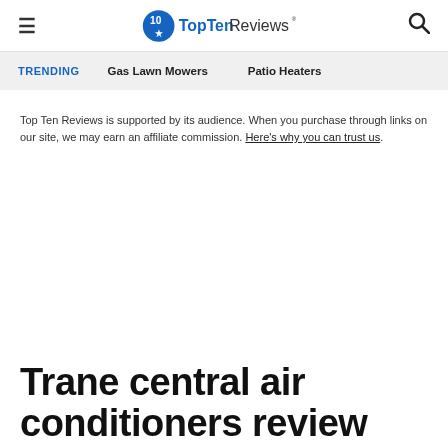TopTenReviews
TRENDING   Gas Lawn Mowers   Patio Heaters
Top Ten Reviews is supported by its audience. When you purchase through links on our site, we may earn an affiliate commission. Here's why you can trust us.
Trane central air conditioners review